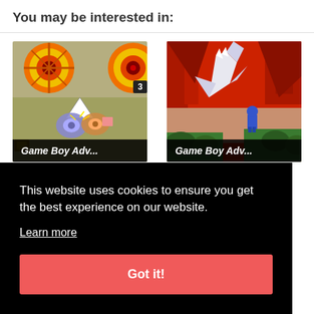You may be interested in:
[Figure (screenshot): Game Boy Advance game screenshot showing spinning tops/beyblades with orange/red circular targets on a gray-tan background]
Game Boy Adv...
[Figure (screenshot): Game Boy Advance game screenshot showing a white dragon creature and small blue character on a landscape with red trees and green grass]
Game Boy Adv...
This website uses cookies to ensure you get the best experience on our website.
Learn more
Got it!